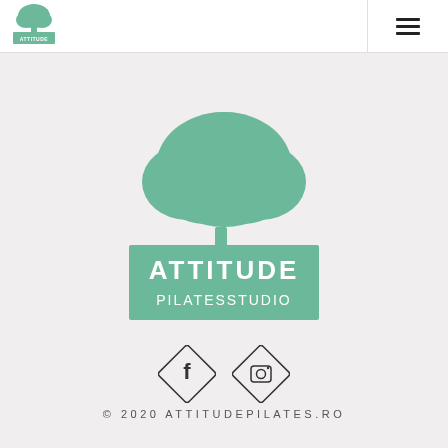[Figure (logo): Attitude Pilates Studio small logo in header navigation bar]
[Figure (logo): Attitude Pilates Studio large centered logo with green tree illustration above green rectangle containing text ATTITUDE PILATESSTUDIO]
[Figure (illustration): Two diamond-shaped social media icons: Facebook (f) and Instagram (camera) in outline style]
© 2020 ATTITUDEPILATES.RO